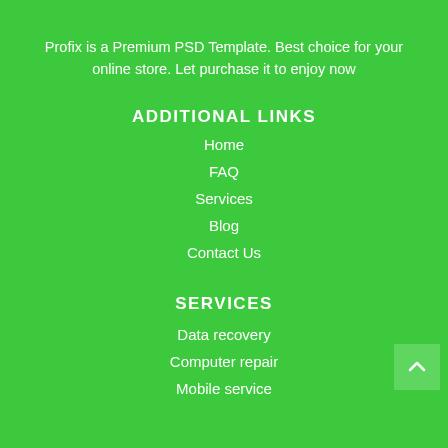Profix is a Premium PSD Template. Best choice for your online store. Let purchase it to enjoy now
ADDITIONAL LINKS
Home
FAQ
Services
Blog
Contact Us
SERVICES
Data recovery
Computer repair
Mobile service